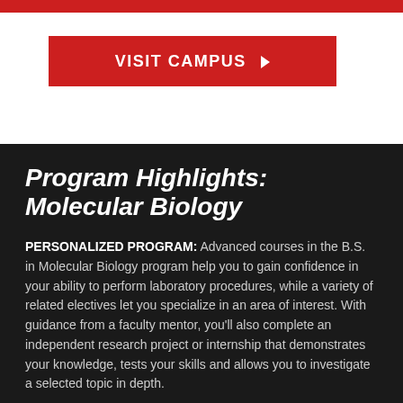[Figure (other): Red horizontal bar at top of page]
[Figure (other): Red button labeled VISIT CAMPUS with arrow]
Program Highlights: Molecular Biology
PERSONALIZED PROGRAM: Advanced courses in the B.S. in Molecular Biology program help you to gain confidence in your ability to perform laboratory procedures, while a variety of related electives let you specialize in an area of interest. With guidance from a faculty mentor, you’ll also complete an independent research project or internship that demonstrates your knowledge, tests your skills and allows you to investigate a selected topic in depth.
FACULTY EXPERTISE: Faculty in PennWest California’s